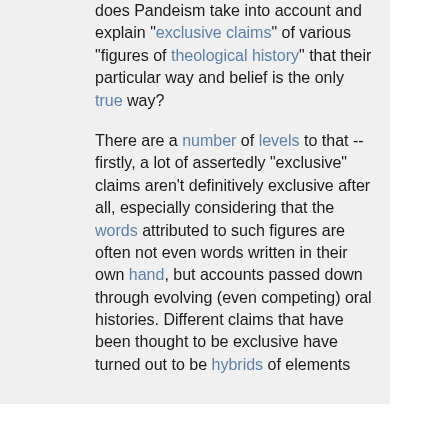does Pandeism take into account and explain "exclusive claims" of various "figures of theological history" that their particular way and belief is the only true way?

There are a number of levels to that -- firstly, a lot of assertedly "exclusive" claims aren't definitively exclusive after all, especially considering that the words attributed to such figures are often not even words written in their own hand, but accounts passed down through evolving (even competing) oral histories. Different claims that have been thought to be exclusive have turned out to be hybrids of elements